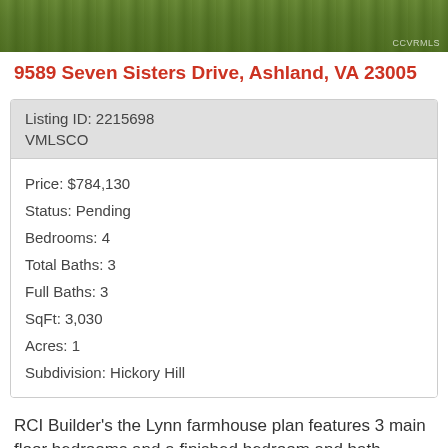[Figure (photo): Aerial or landscape photo showing green grass/lawn area with a small watermark 'CCVRMLS' in the bottom right corner]
9589 Seven Sisters Drive, Ashland, VA 23005
| Listing ID: 2215698 |
| VMLSCO |
| Price: $784,130 |
| Status: Pending |
| Bedrooms: 4 |
| Total Baths: 3 |
| Full Baths: 3 |
| SqFt: 3,030 |
| Acres: 1 |
| Subdivision: Hickory Hill |
RCI Builder's the Lynn farmhouse plan features 3 main floor bedrooms and a finished bedroom and bath